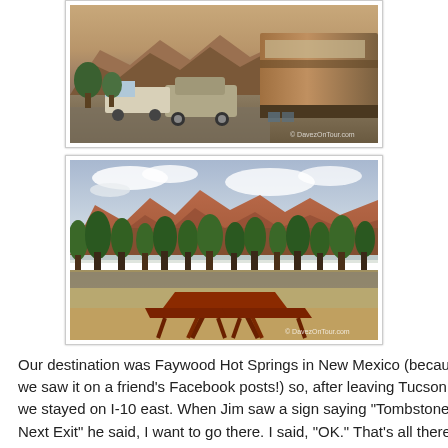[Figure (photo): RV campsite at dusk with mountains in background, a car and trailer visible, and chairs under the RV awning. Watermark: DavezOnTour.com]
[Figure (photo): Campsite with red rocky mountains in background, green desert trees, open grassy area, and a red picnic table in foreground. Watermark: DavezOnTour.com]
Our destination was Faywood Hot Springs in New Mexico (because we saw it on a friend's Facebook posts!) so, after leaving Tucson we stayed on I-10 east. When Jim saw a sign saying "Tombstone Next Exit" he said, I want to go there. I said, "OK." That's all there was to it!